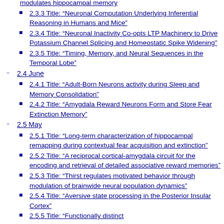2.3.3 Title: “Neuronal Computation Underlying Inferential Reasoning in Humans and Mice”
2.3.4 Title: “Neuronal Inactivity Co-opts LTP Machinery to Drive Potassium Channel Splicing and Homeostatic Spike Widening”
2.3.5 Title: “Timing, Memory, and Neural Sequences in the Temporal Lobe”
2.4 June
2.4.1 Title: “Adult-Born Neurons activity during Sleep and Memory Consolidation”
2.4.2 Title: “Amygdala Reward Neurons Form and Store Fear Extinction Memory”
2.5 May
2.5.1 Title: “Long-term characterization of hippocampal remapping during contextual fear acquisition and extinction”
2.5.2 Title: “A reciprocal cortical-amygdala circuit for the encoding and retrieval of detailed associative reward memories”
2.5.3 Title: “Thirst regulates motivated behavior through modulation of brainwide neural population dynamics”
2.5.4 Title: “Aversive state processing in the Posterior Insular Cortex”
2.5.5 Title: “Functionally distinct…”